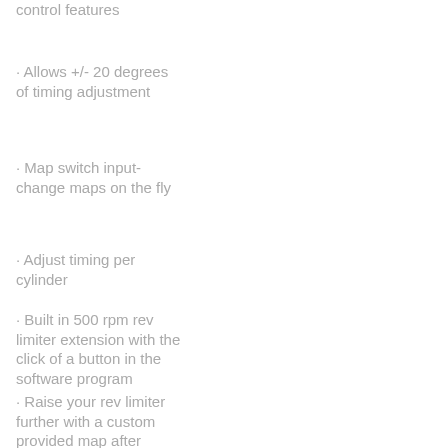Standard Pyrof... control features
· Allows +/- 20 degrees of timing adjustment
· Map switch input- change maps on the fly
· Adjust timing per cylinder
· Built in 500 rpm rev limiter extension with the click of a button in the software program
· Raise your rev limiter further with a custom provided map after liability/release